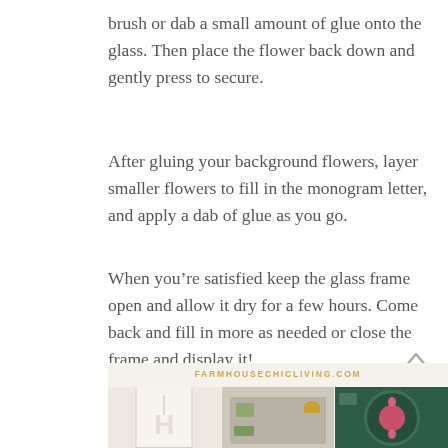brush or dab a small amount of glue onto the glass. Then place the flower back down and gently press to secure.
After gluing your background flowers, layer smaller flowers to fill in the monogram letter, and apply a dab of glue as you go.
When you're satisfied keep the glass frame open and allow it dry for a few hours. Come back and fill in more as needed or close the frame and display it!
[Figure (photo): A collage-style image strip with the watermark FARMHOUSECHICLIVING.COM and three photos side by side: a white letter H ornament, resin trays with dried flowers, and a dark green plate with a pink flower.]